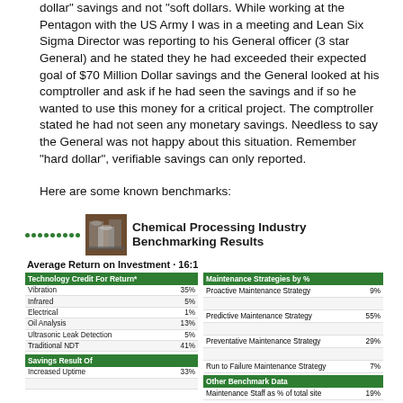dollar" savings and not "soft dollars. While working at the Pentagon with the US Army I was in a meeting and Lean Six Sigma Director was reporting to his General officer (3 star General) and he stated they he had exceeded their expected goal of $70 Million Dollar savings and the General looked at his comptroller and ask if he had seen the savings and if so he wanted to use this money for a critical project. The comptroller stated he had not seen any monetary savings. Needless to say the General was not happy about this situation. Remember "hard dollar", verifiable savings can only reported.
Here are some known benchmarks:
[Figure (infographic): Chemical Processing Industry Benchmarking Results infographic with two side-by-side tables. Left table: Technology Credit For Return (Vibration 35%, Infrared 5%, Electrical 1%, Oil Analysis 13%, Ultrasonic Leak Detection 5%, Traditional NDT 41%) and Savings Result Of (Increased Uptime 33%). Right table: Maintenance Strategies by % (Proactive 9%, Predictive 55%, Preventative 29%, Run to Failure 7%) and Other Benchmark Data (Maintenance Staff as % of total site 19%). Average Return on Investment 16:1.]